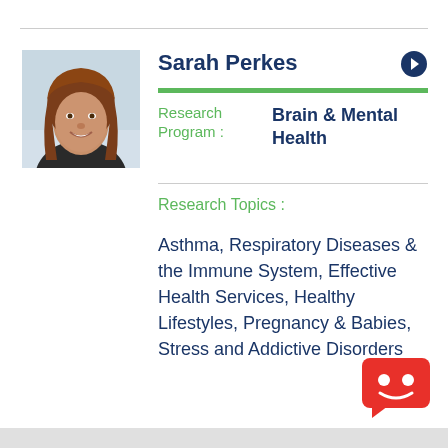[Figure (photo): Portrait photo of Sarah Perkes, a woman with long reddish-brown hair, smiling]
Sarah Perkes
Research Program : Brain & Mental Health
Research Topics :
Asthma, Respiratory Diseases & the Immune System, Effective Health Services, Healthy Lifestyles, Pregnancy & Babies, Stress and Addictive Disorders